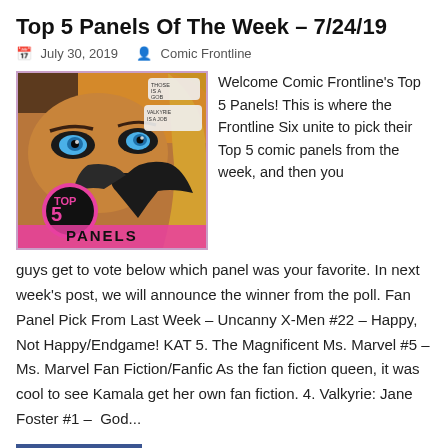Top 5 Panels Of The Week – 7/24/19
July 30, 2019   Comic Frontline
[Figure (illustration): Comic book cover image with 'TOP 5 PANELS' text in pink, featuring a close-up of a female character with blue eyes and blonde hair]
Welcome Comic Frontline's Top 5 Panels! This is where the Frontline Six unite to pick their Top 5 comic panels from the week, and then you guys get to vote below which panel was your favorite. In next week's post, we will announce the winner from the poll. Fan Panel Pick From Last Week – Uncanny X-Men #22 – Happy, Not Happy/Endgame! KAT 5. The Magnificent Ms. Marvel #5 – Ms. Marvel Fan Fiction/Fanfic As the fan fiction queen, it was cool to see Kamala get her own fan fiction. 4. Valkyrie: Jane Foster #1 –  God...
READ MORE